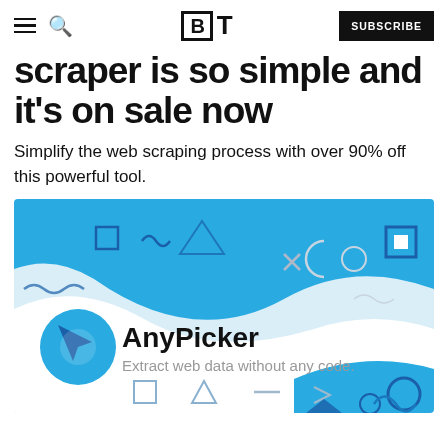BT — SUBSCRIBE
scraper is so simple and it's on sale now
Simplify the web scraping process with over 90% off this powerful tool.
[Figure (illustration): AnyPicker promotional image with blue abstract background, shapes (squares, triangles, circles, arrows), blue arrow/cursor logo icon, bold text 'AnyPicker' and subtitle 'Extract web data without any code.']